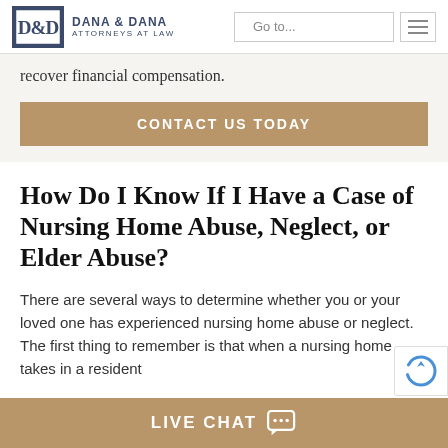Dana & Dana Attorneys at Law — Navigation header with Go to... menu
recover financial compensation.
CONTACT US TODAY
How Do I Know If I Have a Case of Nursing Home Abuse, Neglect, or Elder Abuse?
There are several ways to determine whether you or your loved one has experienced nursing home abuse or neglect. The first thing to remember is that when a nursing home takes in a resident
LIVE CHAT